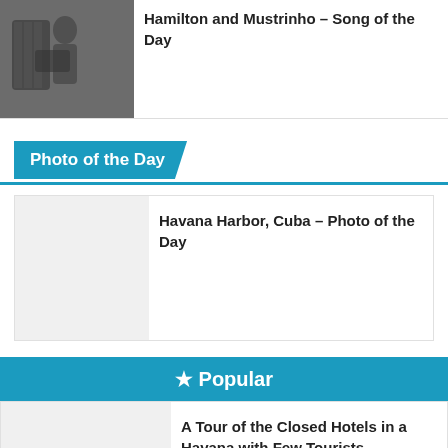[Figure (photo): Thumbnail photo of musicians with accordion]
Hamilton and Mustrinho – Song of the Day
Photo of the Day
[Figure (photo): Blank thumbnail placeholder for Havana Harbor photo]
Havana Harbor, Cuba – Photo of the Day
★ Popular
[Figure (photo): Blank thumbnail placeholder for Havana hotels article]
A Tour of the Closed Hotels in a Havana with Few Tourists